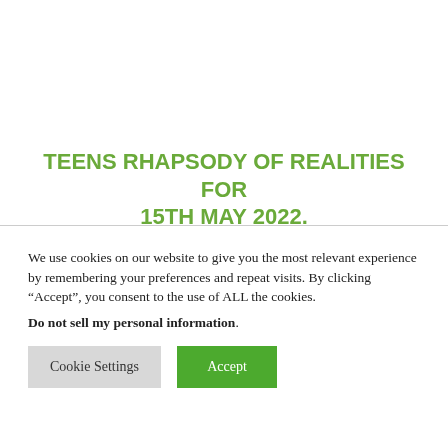TEENS RHAPSODY OF REALITIES FOR 15TH MAY 2022.
We use cookies on our website to give you the most relevant experience by remembering your preferences and repeat visits. By clicking “Accept”, you consent to the use of ALL the cookies.
Do not sell my personal information.